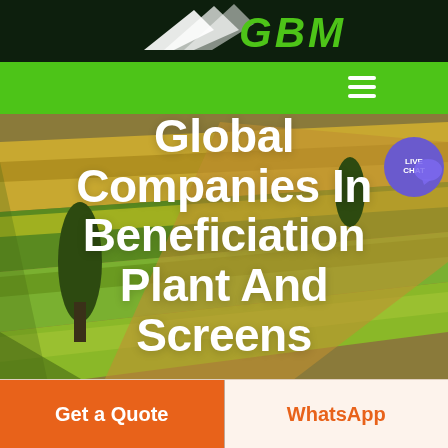[Figure (logo): GBM company logo with arrow/wing icon and green GBM text on dark green background]
[Figure (screenshot): Green navigation bar with hamburger menu icon and purple live chat badge]
[Figure (photo): Aerial photograph of agricultural fields with green and golden tones, trees visible]
Global Companies In Beneficiation Plant And Screens
Get a Quote
WhatsApp